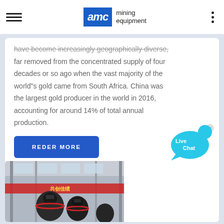AMC mining equipment
have become increasingly geographically diverse, far removed from the concentrated supply of four decades or so ago when the vast majority of the world"s gold came from South Africa. China was the largest gold producer in the world in 2016, accounting for around 14% of total annual production.
REDER MORE
[Figure (photo): Industrial machinery/ball mills in a large factory or warehouse with red banner in background with Chinese text]